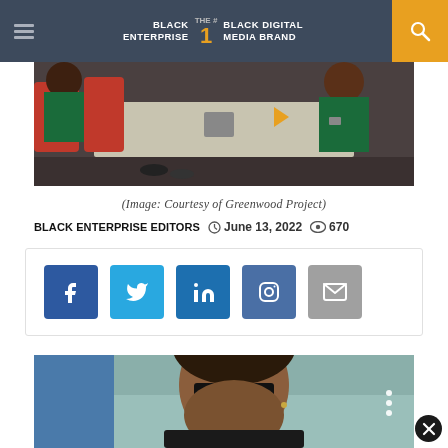BLACK ENTERPRISE — THE #1 BLACK DIGITAL MEDIA BRAND
[Figure (photo): Students sitting at desks in a classroom or meeting room, wearing green shirts, in a workshop setting. Image courtesy of Greenwood Project.]
(Image: Courtesy of Greenwood Project)
BLACK ENTERPRISE Editors   June 13, 2022   670
[Figure (infographic): Social sharing buttons: Facebook, Twitter, LinkedIn, Instagram, Email]
[Figure (photo): Man wearing sunglasses, partial face visible, appears to be a profile or editorial photo.]